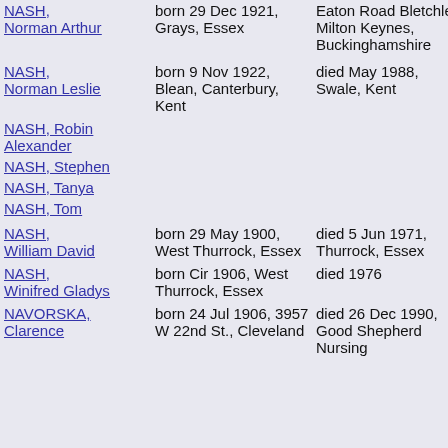NASH, Norman Arthur | born 29 Dec 1921, Grays, Essex | Eaton Road Bletchley, Milton Keynes, Buckinghamshire
NASH, Norman Leslie | born 9 Nov 1922, Blean, Canterbury, Kent | died May 1988, Swale, Kent
NASH, Robin Alexander
NASH, Stephen
NASH, Tanya
NASH, Tom
NASH, William David | born 29 May 1900, West Thurrock, Essex | died 5 Jun 1971, Thurrock, Essex
NASH, Winifred Gladys | born Cir 1906, West Thurrock, Essex | died 1976
NAVORSKA, Clarence | born 24 Jul 1906, 3957 W 22nd St., Cleveland | died 26 Dec 1990, Good Shepherd Nursing